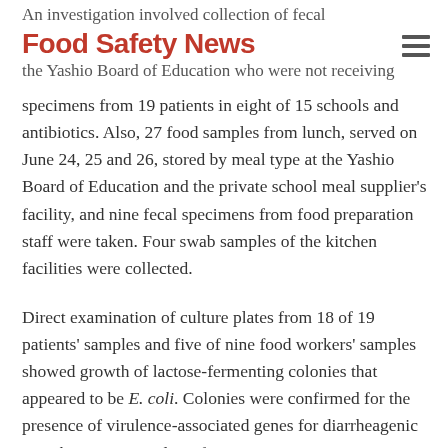Food Safety News
An investigation involved collection of fecal specimens from 19 patients in eight of 15 schools and the Yashio Board of Education who were not receiving antibiotics. Also, 27 food samples from lunch, served on June 24, 25 and 26, stored by meal type at the Yashio Board of Education and the private school meal supplier's facility, and nine fecal specimens from food preparation staff were taken. Four swab samples of the kitchen facilities were collected.
Direct examination of culture plates from 18 of 19 patients' samples and five of nine food workers' samples showed growth of lactose-fermenting colonies that appeared to be E. coli. Colonies were confirmed for the presence of virulence-associated genes for diarrheagenic E. coli. Fourteen isolates from